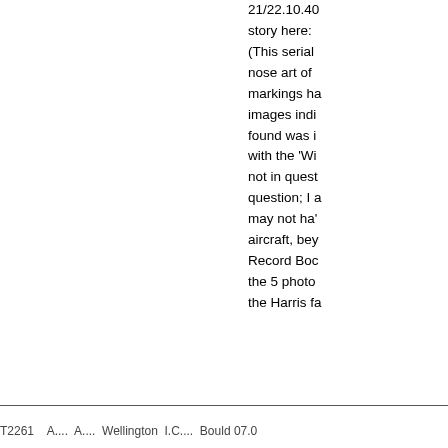21/22.10.40 story here: (This serial nose art of markings ha images indi found was i with the 'Wi not in quest question; I a may not ha' aircraft, bey Record Boc the 5 photo the Harris fa
T2261    A....  A....  Wellington  I.C....  Bould 07.0...